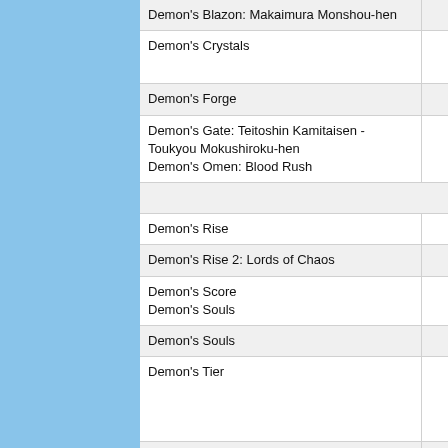| Title |  |
| --- | --- |
| Demon's Blazon: Makaimura Monshou-hen |  |
| Demon's Crystals |  |
| Demon's Forge |  |
| Demon's Gate: Teitoshin Kamitaisen - Toukyou Mokushiroku-hen
Demon's Omen: Blood Rush |  |
| Demon's Rise |  |
| Demon's Rise 2: Lords of Chaos |  |
| Demon's Score
Demon's Souls |  |
| Demon's Souls |  |
| Demon's Tier |  |
| Demon's Tilt: Occult Pinball Action |  |
| Demon's Tomb: The Awakening |  |